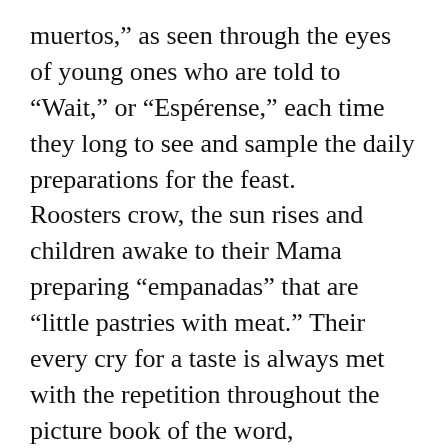muertos,” as seen through the eyes of young ones who are told to “Wait,” or “Espérense,” each time they long to see and sample the daily preparations for the feast. Roosters crow, the sun rises and children awake to their Mama preparing “empanadas” that are “little pastries with meat.” Their every cry for a taste is always met with the repetition throughout the picture book of the word, “Espérense,” to “Wait” that merely whets the anticipation and appetite all the more. “Tios” or uncles, pick golden oranges and apples for the celebration, chiles are ground to powder, packages from the bakery are